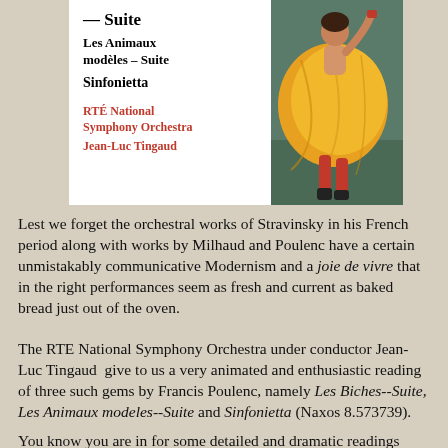[Figure (illustration): Album cover showing partial text 'Suite', 'Les Animaux modèles – Suite', 'Sinfonietta', 'RTÉ National Symphony Orchestra', 'Jean-Luc Tingaud' on white background left side, and a painting of a dancer in orange/yellow dress on right side.]
Lest we forget the orchestral works of Stravinsky in his French period along with works by Milhaud and Poulenc have a certain unmistakably communicative Modernism and a joie de vivre that in the right performances seem as fresh and current as baked bread just out of the oven.
The RTE National Symphony Orchestra under conductor Jean-Luc Tingaud  give to us a very animated and enthusiastic reading of three such gems by Francis Poulenc, namely Les Biches--Suite, Les Animaux modeles--Suite and Sinfonietta (Naxos 8.573739).
You know you are in for some detailed and dramatic readings from the first strains of the "Rondean" movement of